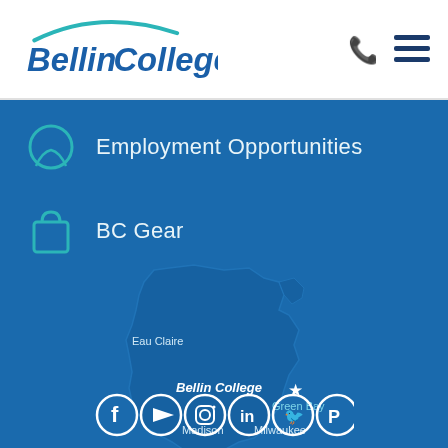[Figure (logo): Bellin College logo with teal arc and blue italic text]
Employment Opportunities
BC Gear
[Figure (map): Wisconsin state map showing Bellin College location in Green Bay, with labels for Eau Claire, Green Bay, Madison, Milwaukee]
[Figure (infographic): Social media icons: Facebook, YouTube, Instagram, LinkedIn, Twitter, Pinterest]